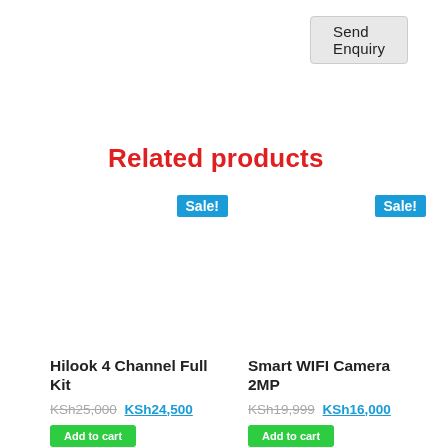[Figure (other): Send Enquiry button (grey rounded button)]
Related products
[Figure (other): Product card: Hilook 4 Channel Full Kit with Sale! badge, blank product image, original price KSh25,000, sale price KSh24,500, and Add to Cart green button]
[Figure (other): Product card: Smart WIFI Camera 2MP with Sale! badge, blank product image, original price KSh19,999, sale price KSh16,000, and Add to Cart green button]